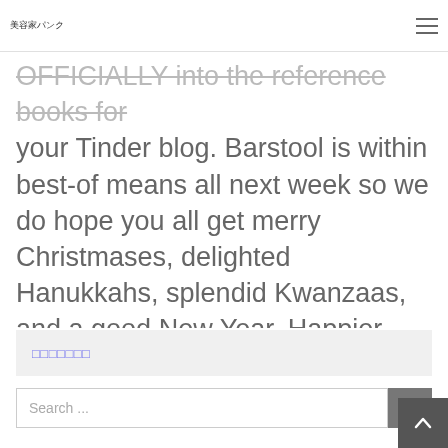美容家パンク
OFFICIALLY into the reference books for your Tinder blog. Barstool is within best-of means all next week so we do hope you all get merry Christmases, delighted Hanukkahs, splendid Kwanzaas, and a good New Year. Happier swiping!
□□□□□□□
Search ...